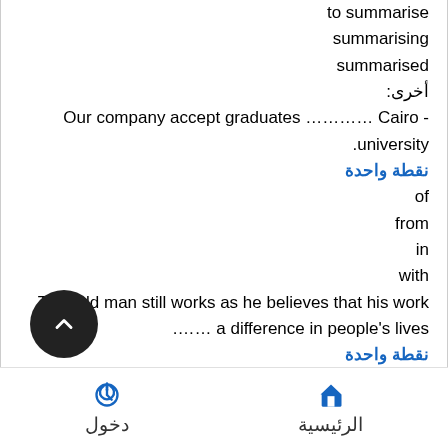to summarise
summarising
summarised
أخرى:
- Our company accept graduates ………… Cairo university.
نقطة واحدة
of
from
in
with
That old man still works as he believes that his work …… a difference in people's lives.
نقطة واحدة
takes
works
has
makes
دخول | الرئيسية